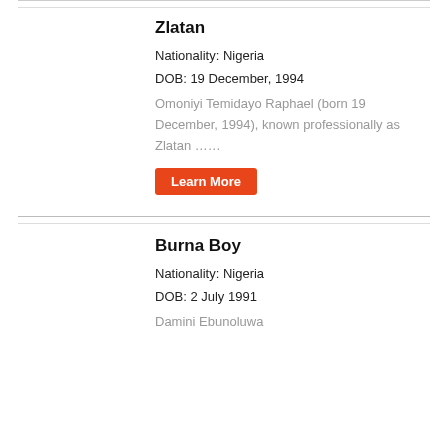Zlatan
Nationality: Nigeria
DOB: 19 December, 1994
Omoniyi Temidayo Raphael (born 19 December, 1994), known professionally as Zlatan ……
Learn More
Burna Boy
Nationality: Nigeria
DOB: 2 July 1991
Damini Ebunoluwa